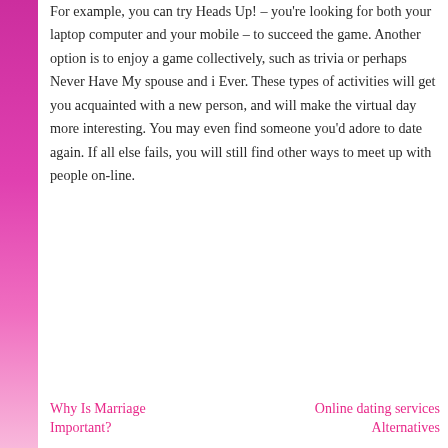For example, you can try Heads Up! – you're looking for both your laptop computer and your mobile – to succeed the game. Another option is to enjoy a game collectively, such as trivia or perhaps Never Have My spouse and i Ever. These types of activities will get you acquainted with a new person, and will make the virtual day more interesting. You may even find someone you'd adore to date again. If all else fails, you will still find other ways to meet up with people on-line.
Why Is Marriage Important?
Online dating services Alternatives